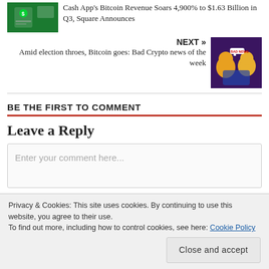[Figure (photo): Cash App logo on green background, smartphone screen]
Cash App's Bitcoin Revenue Soars 4,900% to $1.63 Billion in Q3, Square Announces
NEXT »
[Figure (illustration): Cartoon illustration of crypto characters with 'BAD NEWS' speech bubble on purple/yellow background]
Amid election throes, Bitcoin goes: Bad Crypto news of the week
BE THE FIRST TO COMMENT
Leave a Reply
Enter your comment here...
Privacy & Cookies: This site uses cookies. By continuing to use this website, you agree to their use.
To find out more, including how to control cookies, see here: Cookie Policy
Close and accept